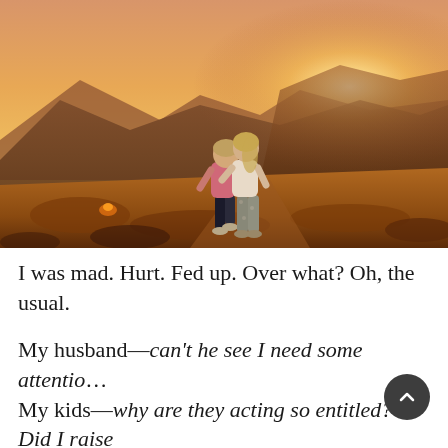[Figure (photo): Two women standing with their backs to the camera on a hilltop at sunset, hugging or leaning heads together. One wears a pink top and black capri leggings, the other wears a white tank top and floral/patterned cropped pants. Golden-orange sunset light illuminates mountain landscape behind them.]
I was mad. Hurt. Fed up. Over what? Oh, the usual.
My husband—can't he see I need some attention. My kids—why are they acting so entitled? Did I raise